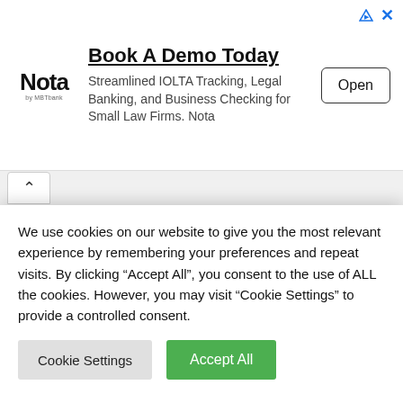[Figure (screenshot): Nota by MBT advertisement banner with logo, headline 'Book A Demo Today', body text about IOLTA Tracking and Legal Banking, and an 'Open' button]
Book A Demo Today
Streamlined IOLTA Tracking, Legal Banking, and Business Checking for Small Law Firms. Nota
[Figure (screenshot): Navigation strip with up-arrow chevron tab]
[Figure (screenshot): Black hero section background]
ABOUT US
Putakputak.com is a blog dedicated to providing
We use cookies on our website to give you the most relevant experience by remembering your preferences and repeat visits. By clicking “Accept All”, you consent to the use of ALL the cookies. However, you may visit "Cookie Settings" to provide a controlled consent.